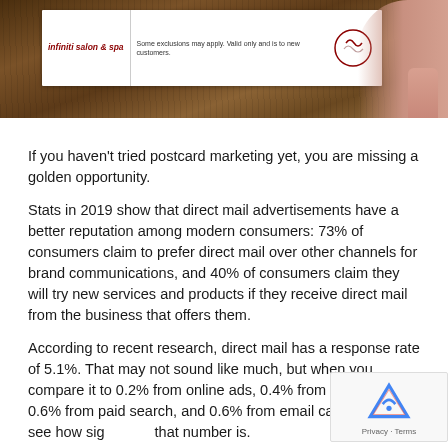[Figure (photo): A hand holding a postcard or marketing card from 'infiniti salon & spa' against a wood-grain background]
If you haven't tried postcard marketing yet, you are missing a golden opportunity.
Stats in 2019 show that direct mail advertisements have a better reputation among modern consumers: 73% of consumers claim to prefer direct mail over other channels for brand communications, and 40% of consumers claim they will try new services and products if they receive direct mail from the business that offers them.
According to recent research, direct mail has a response rate of 5.1%. That may not sound like much, but when you compare it to 0.2% from online ads, 0.4% from social media, 0.6% from paid search, and 0.6% from email campaigns, you see how significant that number is.